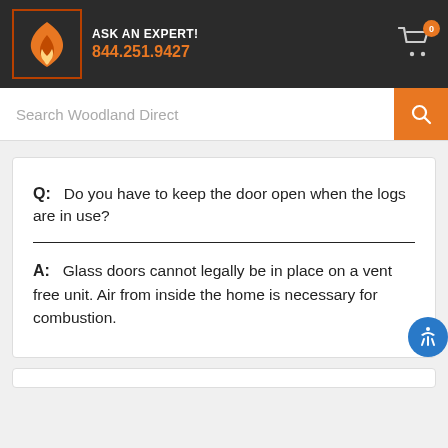ASK AN EXPERT! 844.251.9427
Search Woodland Direct
Q: Do you have to keep the door open when the logs are in use?
A: Glass doors cannot legally be in place on a vent free unit. Air from inside the home is necessary for combustion.